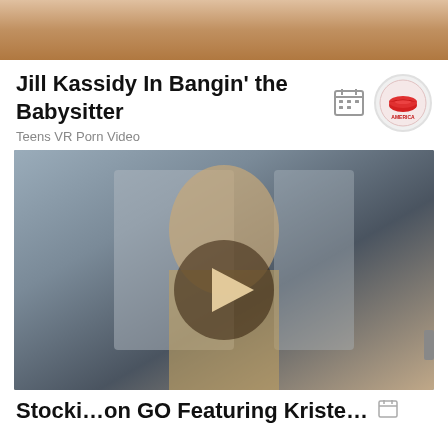[Figure (photo): Cropped top portion of a photo showing a person, partially visible at top of page]
Jill Kassidy In Bangin' the Babysitter
Teens VR Porn Video
[Figure (photo): Video thumbnail of a young woman with long brown hair, with a play button overlay circle in the center]
Stocki…on GO Featuring Kriste…